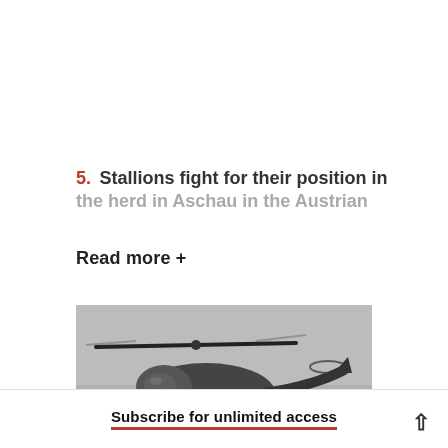5. Stallions fight for their position in the herd in Aschau in the Austrian
Read more +
[Figure (photo): Black and white photograph of a military helicopter (appears to be a Black Hawk or similar) in flight, viewed from slightly below and to the side, with rotor blades visible and blurred motion.]
Subscribe for unlimited access